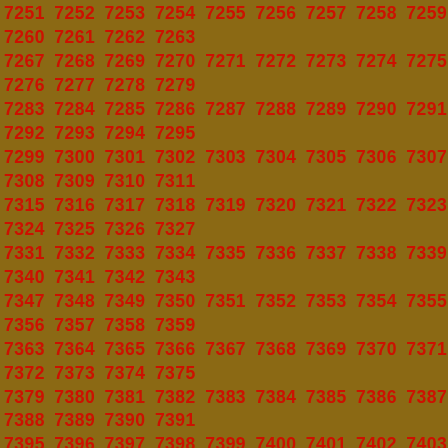Sequential numbers from approximately 7251 to 7615, displayed in a grid pattern with bold red text on a dark golden-brown background.